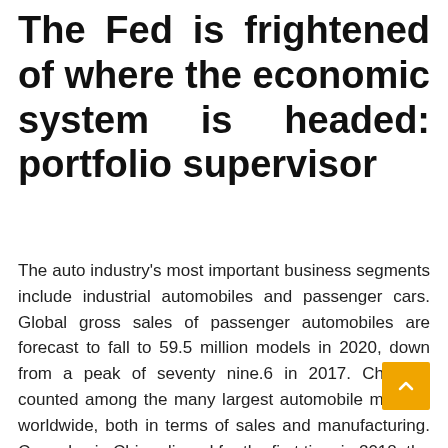The Fed is frightened of where the economic system is headed: portfolio supervisor
The auto industry's most important business segments include industrial automobiles and passenger cars. Global gross sales of passenger automobiles are forecast to fall to 59.5 million models in 2020, down from a peak of seventy nine.6 in 2017. China is counted among the many largest automobile markets worldwide, both in terms of sales and manufacturing. Car sales in China dipped for the first time in 2018; the market has recovered since. In the United States virtually entire producers had been assemblers who put